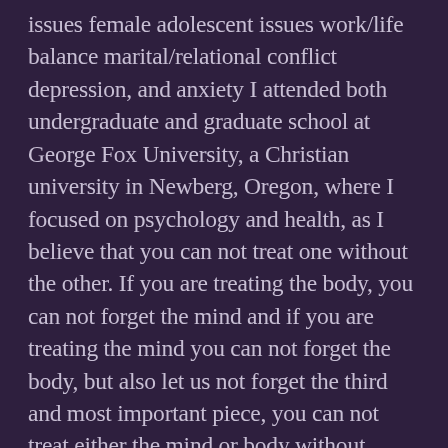issues female adolescent issues work/life balance marital/relational conflict depression, and anxiety I attended both undergraduate and graduate school at George Fox University, a Christian university in Newberg, Oregon, where I focused on psychology and health, as I believe that you can not treat one without the other. If you are treating the body, you can not forget the mind and if you are treating the mind you can not forget the body, but also let us not forget the third and most important piece, you can not treat either the mind or body without treating the heart and soul. I graduated with my Masters in Counseling in 2004. While working in the mental health field I have served as: a child development therapist for the 2-7 year olds who were severely physically and emotionally abused; a readjustment counselor for war eras from Vietnam to Afghanistan, working with individual veterans and